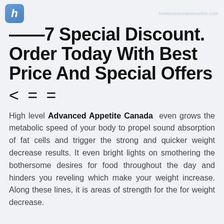h | howtousecouponcodes.com
——7 Special Discount. Order Today With Best Price And Special Offers
< = =
High level Advanced Appetite Canada  even grows the metabolic speed of your body to propel sound absorption of fat cells and trigger the strong and quicker weight decrease results. It even bright lights on smothering the bothersome desires for food throughout the day and hinders you reveling which make your weight increase. Along these lines, it is areas of strength for the for weight decrease.